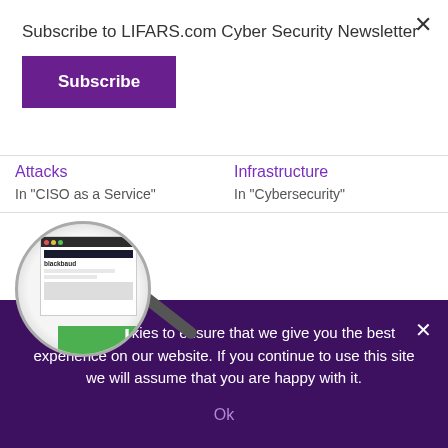Subscribe to LIFARS.com Cyber Security Newsletter
Subscribe
Attacks
In "CISO as a Service"
Infrastructure
In "Cybersecurity"
[Figure (screenshot): Magnifying glass over Blackbaud website screenshot]
Blackbaud Security Incident
We use cookies to ensure that we give you the best experience on our website. If you continue to use this site we will assume that you are happy with it.
Ok